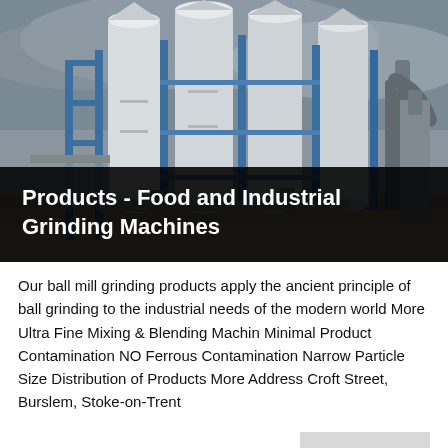[Figure (photo): Industrial grinding facility with large white cylindrical silos/towers and blue steel framework, photographed against a grey overcast sky.]
Products - Food and Industrial Grinding Machines
Our ball mill grinding products apply the ancient principle of ball grinding to the industrial needs of the modern world More Ultra Fine Mixing & Blending Machin Minimal Product Contamination NO Ferrous Contamination Narrow Particle Size Distribution of Products More Address Croft Street, Burslem, Stoke-on-Trent